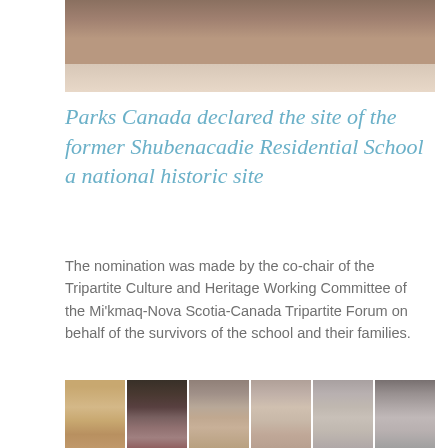[Figure (photo): Partial view of a building exterior, cropped at top of page]
Parks Canada declared the site of the former Shubenacadie Residential School a national historic site
The nomination was made by the co-chair of the Tripartite Culture and Heritage Working Committee of the Mi'kmaq-Nova Scotia-Canada Tripartite Forum on behalf of the survivors of the school and their families.
[Figure (photo): Strip of six portrait photos showing elderly women, appearing to be survivors of the Shubenacadie Residential School]